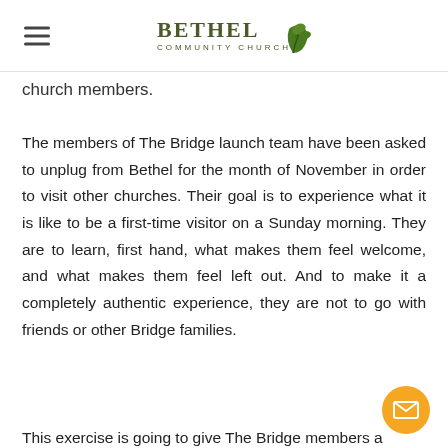BETHEL COMMUNITY CHURCH
church members.
The members of The Bridge launch team have been asked to unplug from Bethel for the month of November in order to visit other churches. Their goal is to experience what it is like to be a first-time visitor on a Sunday morning. They are to learn, first hand, what makes them feel welcome, and what makes them feel left out. And to make it a completely authentic experience, they are not to go with friends or other Bridge families.
This exercise is going to give The Bridge members a